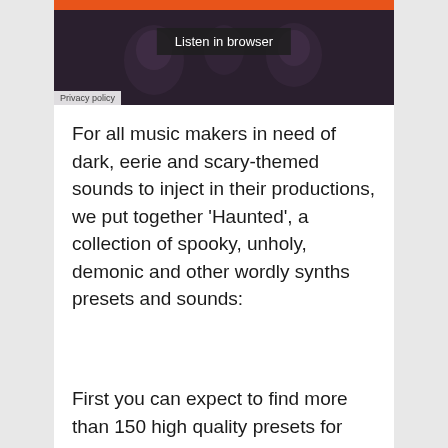[Figure (screenshot): Dark music album artwork with orange bar at top, 'Listen in browser' button overlay, and 'Privacy policy' label at bottom left]
For all music makers in need of dark, eerie and scary-themed sounds to inject in their productions, we put together 'Haunted', a collection of spooky, unholy, demonic and other wordly synths presets and sounds:
First you can expect to find more than 150 high quality presets for